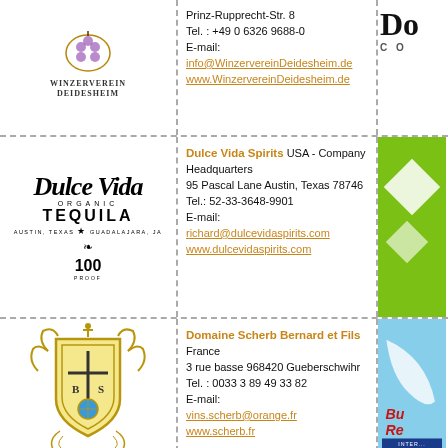[Figure (logo): Winzerverein Deidesheim logo]
Prinz-Rupprecht-Str. 8
Tel. : +49 0 6326 9688-0
E-mail:
info@WinzervereinDeidesheim.de
www.WinzervereinDeidesheim.de
[Figure (logo): Partially visible 'Do' logo top right]
[Figure (logo): Dulce Vida Organic Tequila logo]
Dulce Vida Spirits
USA - Company Headquarters
95 Pascal Lane Austin, Texas 78746
Tel.: 52-33-3648-9901
E-mail:
richard@dulcevidaspirits.com
www.dulcevidaspirits.com
[Figure (logo): Green square graphic partially visible on right]
[Figure (logo): Domaine Scherb Bernard et Fils crest/shield logo]
Domaine Scherb Bernard et Fils
France
3 rue basse 968420 Gueberschwihr
Tel. : 0033 3 89 49 33 82
E-mail:
vins.scherb@orange.fr
www.scherb.fr
[Figure (logo): Partially visible Bud Reg advertisement with blue/red design]